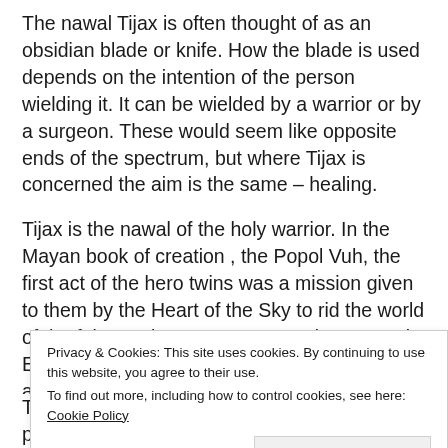The nawal Tijax is often thought of as an obsidian blade or knife. How the blade is used depends on the intention of the person wielding it. It can be wielded by a warrior or by a surgeon. These would seem like opposite ends of the spectrum, but where Tijax is concerned the aim is the same – healing.
Tijax is the nawal of the holy warrior. In the Mayan book of creation , the Popol Vuh, the first act of the hero twins was a mission given to them by the Heart of the Sky to rid the world of the false gods Seven Macaw, Zipacna and Earthquake. This is their quest, their crusade, and is represented by Tijax. They then sacrifice themselves in the underworld (Kame) and are resurrected with magical abilities (Ix). By destroying the false gods...
Privacy & Cookies: This site uses cookies. By continuing to use this website, you agree to their use.
To find out more, including how to control cookies, see here: Cookie Policy
Close and accept
Tijax is celebrated as a day of healers, particularly what could